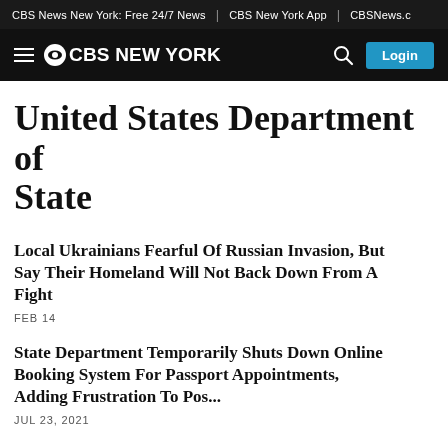CBS News New York: Free 24/7 News | CBS New York App | CBSNews.c
CBS NEW YORK  Login
United States Department of State
Local Ukrainians Fearful Of Russian Invasion, But Say Their Homeland Will Not Back Down From A Fight
FEB 14
State Department Temporarily Shuts Down Online Booking System For Passport Appointments, Adding Frustration To Pos...
JUL 23, 2021